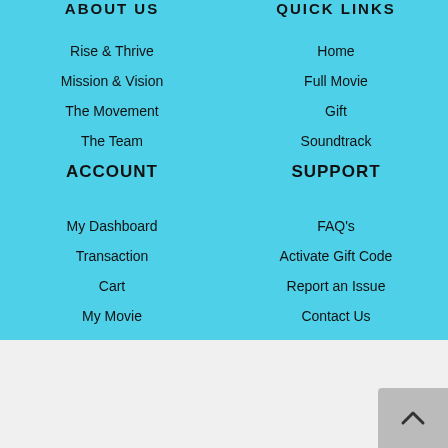ABOUT US
QUICK LINKS
Rise & Thrive
Home
Mission & Vision
Full Movie
The Movement
Gift
The Team
Soundtrack
ACCOUNT
SUPPORT
My Dashboard
FAQ's
Transaction
Activate Gift Code
Cart
Report an Issue
My Movie
Contact Us
FOLLOW US
[Figure (illustration): Social media icons: Facebook, Instagram, YouTube, LinkedIn, Globe/Web]